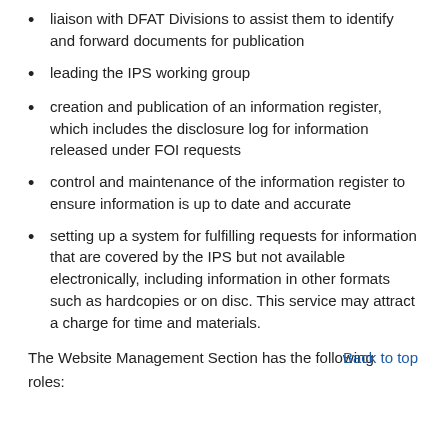liaison with DFAT Divisions to assist them to identify and forward documents for publication
leading the IPS working group
creation and publication of an information register, which includes the disclosure log for information released under FOI requests
control and maintenance of the information register to ensure information is up to date and accurate
setting up a system for fulfilling requests for information that are covered by the IPS but not available electronically, including information in other formats such as hardcopies or on disc. This service may attract a charge for time and materials.
The Website Management Section has the following roles: